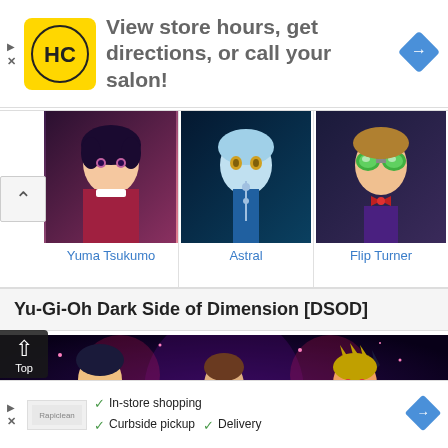[Figure (screenshot): Advertisement banner with HC logo (yellow/black), text 'View store hours, get directions, or call your salon!' and blue navigation diamond icon]
[Figure (screenshot): Three Yu-Gi-Oh character portrait images in a horizontal row: Yuma Tsukumo, Astral, Flip Turner with their names in blue below each]
Yu-Gi-Oh Dark Side of Dimension [DSOD]
[Figure (illustration): Yu-Gi-Oh Dark Side of Dimensions movie promotional artwork showing three characters in battle poses against a dark purple/pink cosmic background]
[Figure (screenshot): Bottom advertisement banner with checkmarks for In-store shopping, Curbside pickup, Delivery and a blue navigation diamond]